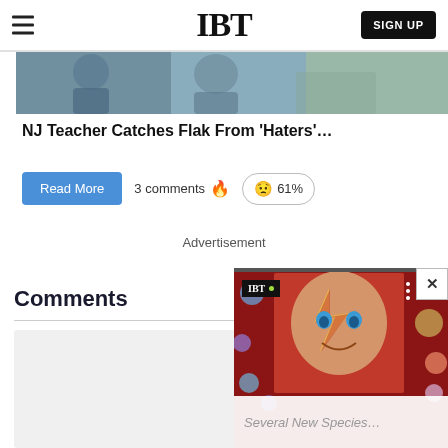IBT | SIGN UP
[Figure (photo): Article thumbnail image showing people at a table]
NJ Teacher Catches Flak From 'Haters'…
Read More   3 comments 🔥   😟 61%
Advertisement
Comments
[Figure (screenshot): Floating video widget showing a colorful mosaic portrait with IBT logo, three dots menu, close button, and caption 'Several New Species...']